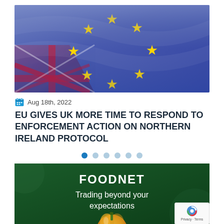[Figure (photo): EU flag and UK flag overlapping, with yellow stars on blue background]
Aug 18th, 2022
EU GIVES UK MORE TIME TO RESPOND TO ENFORCEMENT ACTION ON NORTHERN IRELAND PROTOCOL
[Figure (infographic): FOODNET Trading beyond your expectations banner with yellow pepper on green background]